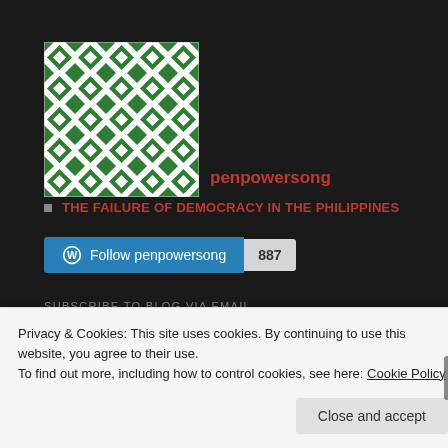[Figure (illustration): Green and white geometric quilt-pattern avatar image for the blog penpowersong]
penpowersong
THE FAILURE OF DEMOCRACY IN THE PHILIPPINES
Follow penpowersong  887
SUBSCRIBE TO BLOG VIA EMAIL
Enter your email address to subscribe to this blog and receive notifications of new posts by email.
Privacy & Cookies: This site uses cookies. By continuing to use this website, you agree to their use.
To find out more, including how to control cookies, see here: Cookie Policy
Close and accept